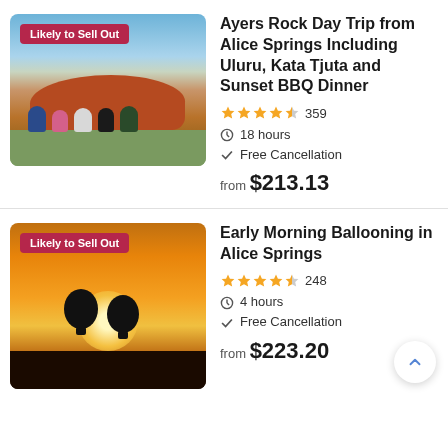[Figure (photo): Photo of tourists at Ayers Rock (Uluru) with red rock formation in background, desert landscape. Badge: Likely to Sell Out]
Ayers Rock Day Trip from Alice Springs Including Uluru, Kata Tjuta and Sunset BBQ Dinner
★★★★½ 359 | 18 hours | Free Cancellation | from $213.13
[Figure (photo): Photo of two hot air balloons silhouetted against orange sunrise sky. Badge: Likely to Sell Out]
Early Morning Ballooning in Alice Springs
★★★★½ 248 | 4 hours | Free Cancellation | from $223.20